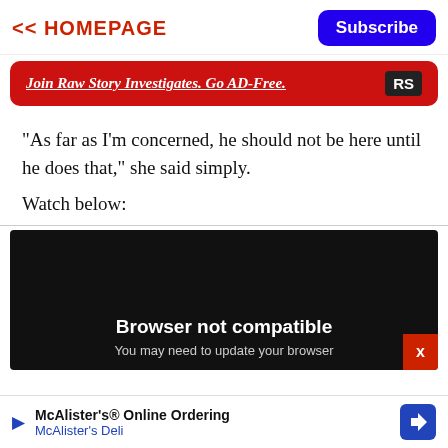<< HOMEPAGE   Subscribe
[Figure (other): Red banner ad: 'Join Raw Story Investigates. Go AD-Free.' with RS logo]
"As far as I'm concerned, he should not be here until he does that," she said simply.
Watch below:
[Figure (screenshot): Black video player area showing 'Browser not compatible' and 'You may need to update your browser' message, with a red close button (x) in the bottom right corner]
[Figure (other): Bottom advertisement: McAlister's Online Ordering / McAlister's Deli with navigation arrow icon]